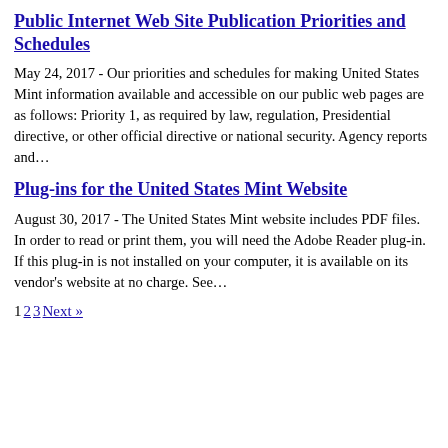Public Internet Web Site Publication Priorities and Schedules
May 24, 2017 - Our priorities and schedules for making United States Mint information available and accessible on our public web pages are as follows: Priority 1, as required by law, regulation, Presidential directive, or other official directive or national security. Agency reports and...
Plug-ins for the United States Mint Website
August 30, 2017 - The United States Mint website includes PDF files. In order to read or print them, you will need the Adobe Reader plug-in. If this plug-in is not installed on your computer, it is available on its vendor's website at no charge. See...
1 2 3 Next »